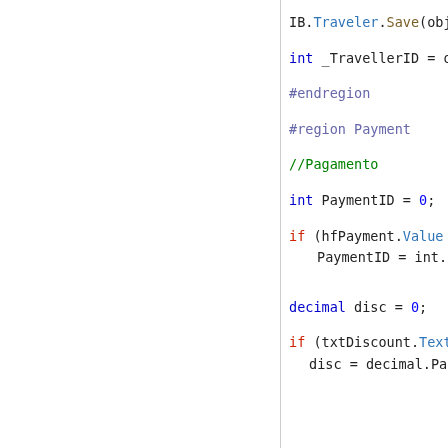[Figure (screenshot): Code editor screenshot showing C# source code with syntax highlighting. Left panel is blank/white, right panel shows code lines: IB.Traveler.Save(objT..., int _TravellerID = obj..., #endregion, #region Payment, //Pagamento, int PaymentID = 0;, if (hfPayment.Value != ...) { PaymentID = int.Pa..., decimal disc = 0;, if (txtDiscount.Text != ...) { disc = decimal.Par...]